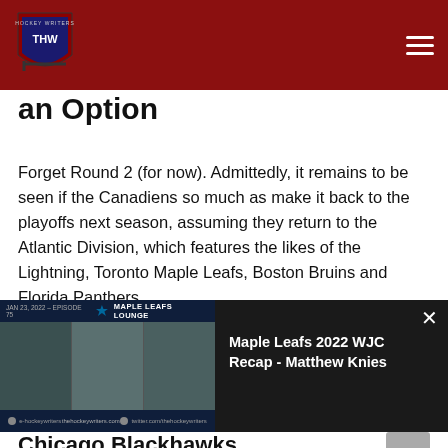THW - The Hockey Writers logo and navigation header
an Option
Forget Round 2 (for now). Admittedly, it remains to be seen if the Canadiens so much as make it back to the playoffs next season, assuming they return to the Atlantic Division, which features the likes of the Lightning, Toronto Maple Leafs, Boston Bruins and Florida Panthers.
However, much like the Nashville Predators did in 2017-18
[Figure (screenshot): Video overlay popup showing a Maple Leafs Lounge podcast/video thumbnail with three people visible, and a close button. Title reads: Maple Leafs 2022 WJC Recap - Matthew Knies]
Chicago Blackhawks